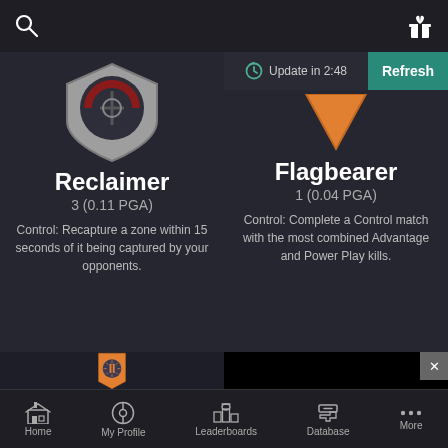[Figure (screenshot): Mobile app screenshot showing game medals/achievements interface with dark theme, two medals (Reclaimer and Flagbearer) displayed in top row, a banner icon in bottom left, black video/preview area in bottom right, update timer with Refresh button, and bottom navigation bar with Home, My Profile, Leaderboards, Database, More tabs.]